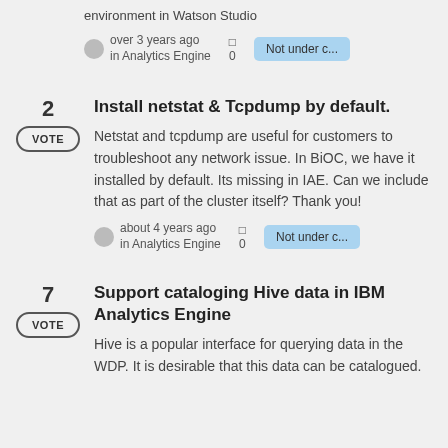environment in Watson Studio
over 3 years ago in Analytics Engine · 0 comments · Not under c...
2 VOTE – Install netstat & Tcpdump by default. Netstat and tcpdump are useful for customers to troubleshoot any network issue. In BiOC, we have it installed by default. Its missing in IAE. Can we include that as part of the cluster itself? Thank you!
about 4 years ago in Analytics Engine · 0 comments · Not under c...
7 VOTE – Support cataloging Hive data in IBM Analytics Engine. Hive is a popular interface for querying data in the WDP. It is desirable that this data can be catalogued.